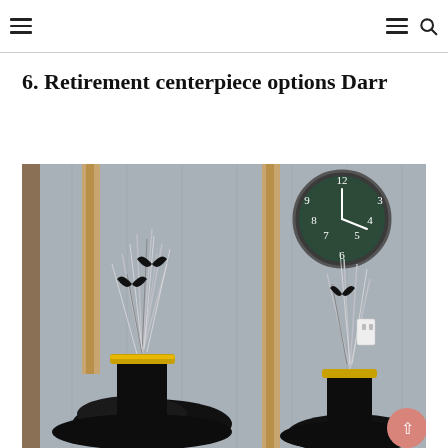Navigation header with hamburger menu icons and search icon
6. Retirement centerpiece options Darr
[Figure (photo): Photo of two retirement party centerpieces with black fabric bases, gold rims, black vases, and silver/black branch decorations with butterfly accents, set on a table in front of a gray wood-paneled wall with a round black clock visible in the upper right]